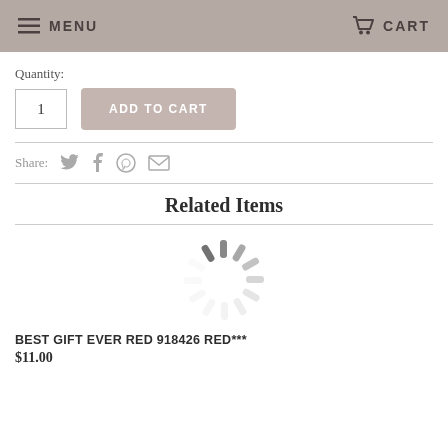MENU    CART
Quantity:
1   ADD TO CART
Share:
Related Items
[Figure (illustration): Loading spinner icon (circular spinner with radiating gray bars)]
BEST GIFT EVER RED 918426 RED***
$11.00